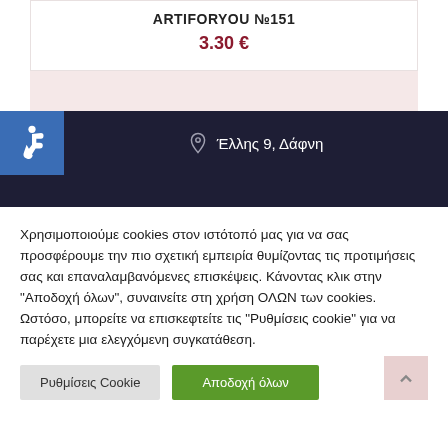ARTIFORYOU №151
3.30 €
Έλλης 9, Δάφνη
Χρησιμοποιούμε cookies στον ιστότοπό μας για να σας προσφέρουμε την πιο σχετική εμπειρία θυμίζοντας τις προτιμήσεις σας και επαναλαμβανόμενες επισκέψεις. Κάνοντας κλικ στην "Αποδοχή όλων", συναινείτε στη χρήση ΟΛΩΝ των cookies. Ωστόσο, μπορείτε να επισκεφτείτε τις "Ρυθμίσεις cookie" για να παρέχετε μια ελεγχόμενη συγκατάθεση.
Ρυθμίσεις Cookie
Αποδοχή όλων